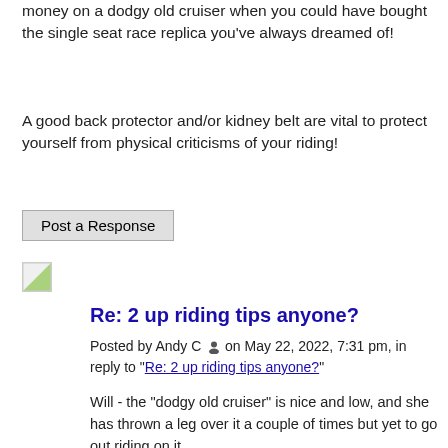money on a dodgy old cruiser when you could have bought the single seat race replica you've always dreamed of!
A good back protector and/or kidney belt are vital to protect yourself from physical criticisms of your riding!
Post a Response
[Figure (photo): Small avatar/profile image thumbnail]
Re: 2 up riding tips anyone?
Posted by Andy C on May 22, 2022, 7:31 pm, in reply to "Re: 2 up riding tips anyone?"
Will - the "dodgy old cruiser" is nice and low, and she has thrown a leg over it a couple of times but yet to go out riding on it.
Having a fairly low C of G having her on the back is not as noticeable as it was with my T160 for example.